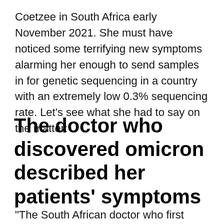Coetzee in South Africa early November 2021. She must have noticed some terrifying new symptoms alarming her enough to send samples in for genetic sequencing in a country with an extremely low 0.3% sequencing rate. Let's see what she had to say on the matter:
The doctor who discovered omicron described her patients' symptoms
“The South African doctor who first identified